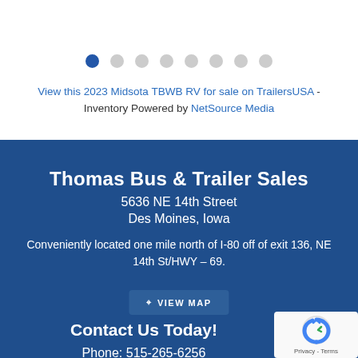[Figure (screenshot): Top navigation/search bar with two rounded input fields]
[Figure (infographic): Carousel dot navigation with 8 dots, first dot filled blue indicating active slide]
View this 2023 Midsota TBWB RV for sale on TrailersUSA - Inventory Powered by NetSource Media
Thomas Bus & Trailer Sales
5636 NE 14th Street
Des Moines, Iowa
Conveniently located one mile north of I-80 off of exit 136, NE 14th St/HWY – 69.
VIEW MAP
Contact Us Today!
Phone: 515-265-6256
[Figure (logo): reCAPTCHA logo with Privacy - Terms text]